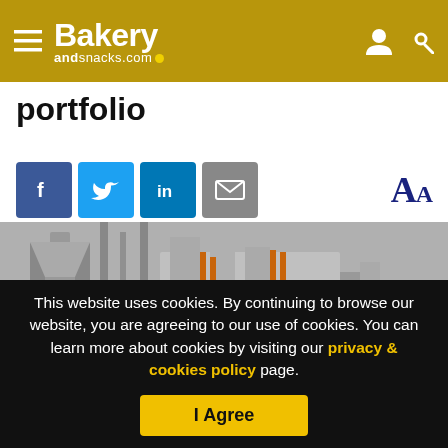Bakery andsnacks.com
portfolio
Social share icons: Facebook, Twitter, LinkedIn, Email; Font size controls AA
[Figure (photo): Industrial bakery or food processing equipment — stainless steel machinery, pipes, and silos in a factory setting]
This website uses cookies. By continuing to browse our website, you are agreeing to our use of cookies. You can learn more about cookies by visiting our privacy & cookies policy page.
I Agree